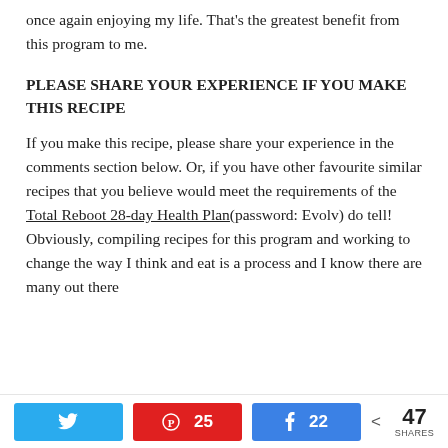once again enjoying my life. That's the greatest benefit from this program to me.
PLEASE SHARE YOUR EXPERIENCE IF YOU MAKE THIS RECIPE
If you make this recipe, please share your experience in the comments section below. Or, if you have other favourite similar recipes that you believe would meet the requirements of the Total Reboot 28-day Health Plan(password: Evolv) do tell! Obviously, compiling recipes for this program and working to change the way I think and eat is a process and I know there are many out there
Twitter share | Pinterest 25 | Facebook 22 | 47 SHARES